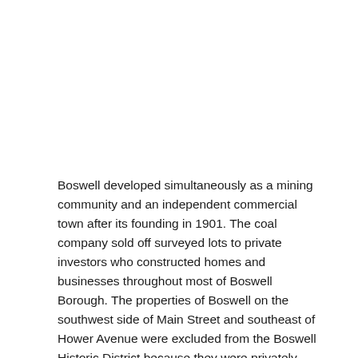Boswell developed simultaneously as a mining community and an independent commercial town after its founding in 1901. The coal company sold off surveyed lots to private investors who constructed homes and businesses throughout most of Boswell Borough. The properties of Boswell on the southwest side of Main Street and southeast of Hower Avenue were excluded from the Boswell Historic District because they were privately developed and independent of the coal company. Main Street and Center Street were constructed independent of the